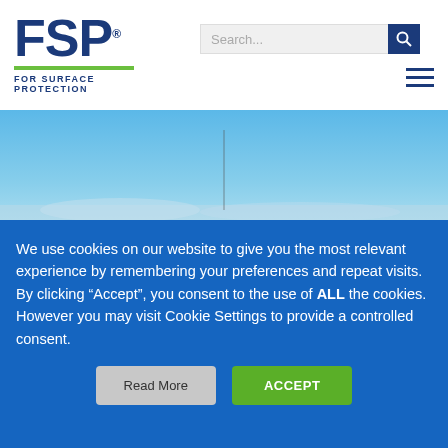[Figure (logo): FSP logo — blue bold lettering with registered trademark symbol, green horizontal rule, tagline FOR SURFACE PROTECTION]
[Figure (screenshot): Search bar with placeholder text 'Search...' and blue search button with magnifier icon, plus hamburger menu icon]
[Figure (photo): Outdoor landscape photo showing a blue sky with faint clouds and a thin mast or antenna structure in the background]
We use cookies on our website to give you the most relevant experience by remembering your preferences and repeat visits. By clicking “Accept”, you consent to the use of ALL the cookies. However you may visit Cookie Settings to provide a controlled consent.
Read More
ACCEPT